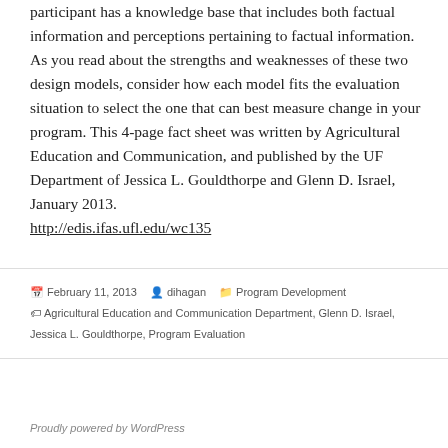participant has a knowledge base that includes both factual information and perceptions pertaining to factual information. As you read about the strengths and weaknesses of these two design models, consider how each model fits the evaluation situation to select the one that can best measure change in your program. This 4-page fact sheet was written by Agricultural Education and Communication, and published by the UF Department of Jessica L. Gouldthorpe and Glenn D. Israel, January 2013.
http://edis.ifas.ufl.edu/wc135
Posted on February 11, 2013  Author dihagan  Categories Program Development  Tags Agricultural Education and Communication Department, Glenn D. Israel, Jessica L. Gouldthorpe, Program Evaluation
Proudly powered by WordPress